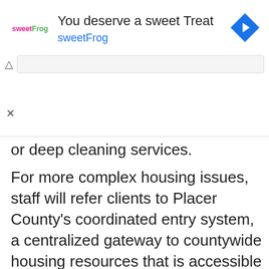[Figure (infographic): Advertisement banner for sweetFrog frozen yogurt. Text reads 'You deserve a sweet Treat' with sweetFrog logo and a blue diamond navigation arrow icon.]
or deep cleaning services.
For more complex housing issues, staff will refer clients to Placer County's coordinated entry system, a centralized gateway to countywide housing resources that is accessible to the public via telephone hotline.
The state award is matched on a dollar-for-dollar basis through in-kind support and other state-wide funding streams.